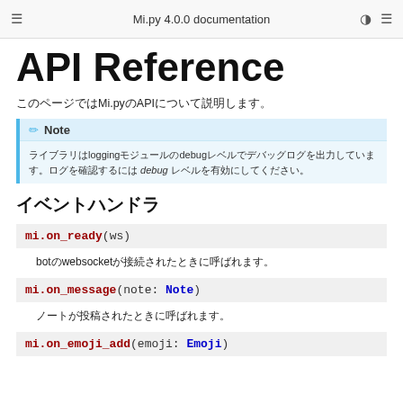Mi.py 4.0.0 documentation
API Reference
このページではMi.pyのAPIについて説明します。
Note
ライブラリはloggingモジュールのdebugレベルでデバッグログを出力しています。ログを確認するには debug レベルを有効にしてください。
イベントハンドラ
mi.on_ready(ws)
botのwebsocketが接続されたときに呼ばれます。
mi.on_message(note: Note)
ノートが投稿されたときに呼ばれます。
mi.on_emoji_add(emoji: Emoji)